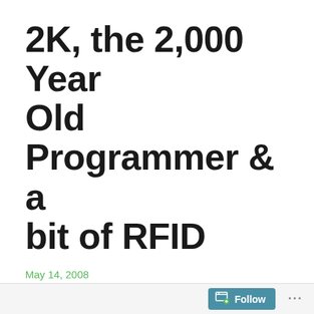2K, the 2,000 Year Old Programmer & a bit of RFID
May 14, 2008
Posted in gadget, geek, RFID, technology, USA
Meet 2K, the 2,000 Year Old Programmer from the Bronx and Auto-ID in The MarkMagic Chronicles. “That’s the problem these days,” 2K says. “Nobody